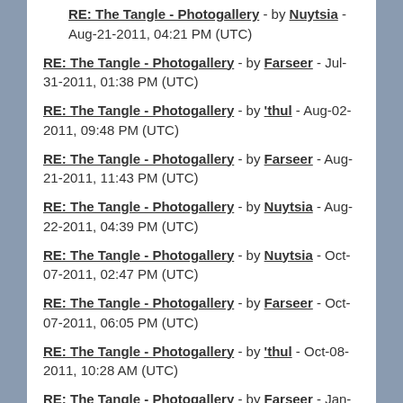RE: The Tangle - Photogallery - by Nuytsia - Aug-21-2011, 04:21 PM (UTC)
RE: The Tangle - Photogallery - by Farseer - Jul-31-2011, 01:38 PM (UTC)
RE: The Tangle - Photogallery - by 'thul - Aug-02-2011, 09:48 PM (UTC)
RE: The Tangle - Photogallery - by Farseer - Aug-21-2011, 11:43 PM (UTC)
RE: The Tangle - Photogallery - by Nuytsia - Aug-22-2011, 04:39 PM (UTC)
RE: The Tangle - Photogallery - by Nuytsia - Oct-07-2011, 02:47 PM (UTC)
RE: The Tangle - Photogallery - by Farseer - Oct-07-2011, 06:05 PM (UTC)
RE: The Tangle - Photogallery - by 'thul - Oct-08-2011, 10:28 AM (UTC)
RE: The Tangle - Photogallery - by Farseer - Jan-04-2012, 02:33 AM (UTC)
RE: The Tangle - Photogallery - by fool-ish - Jan-04-2012, 09:59 PM (UTC)
RE: The Tangle - Photogallery - by Farseer - Jan-04-2012, 10:22 PM (UTC)
RE: The Tangle - Photogallery - by fool-ish - Jan-04-2012, 10:57 PM (UTC)